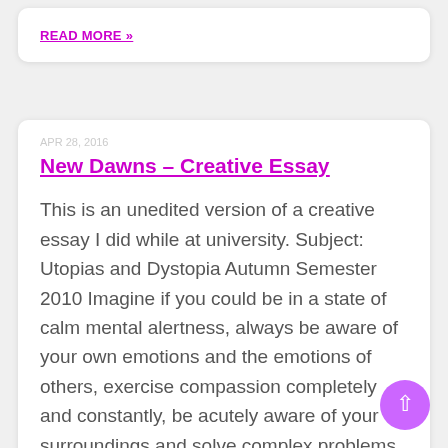READ MORE »
New Dawns – Creative Essay
This is an unedited version of a creative essay I did while at university. Subject: Utopias and Dystopia Autumn Semester 2010 Imagine if you could be in a state of calm mental alertness, always be aware of your own emotions and the emotions of others, exercise compassion completely and constantly, be acutely aware of your surroundings and solve complex problems